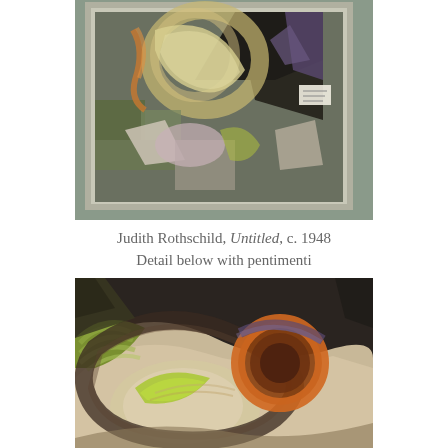[Figure (photo): Photograph of a framed abstract painting hung on a grey wall. The painting features cubist-style geometric forms with muted greens, purples, yellows, and oranges. A small label is visible on the wall to the right.]
Judith Rothschild, Untitled, c. 1948
Detail below with pentimenti
[Figure (photo): Close-up detail of the painting showing textured brushwork with swirling abstract shapes in green, beige, dark purple, and orange-brown tones, revealing pentimenti (earlier painted layers showing through).]